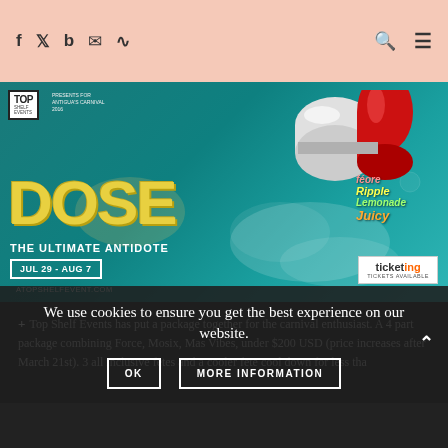Navigation bar with social icons (Facebook, Twitter, Bloglovin, Email, RSS) and search/menu icons
[Figure (photo): DOSE - The Ultimate Antidote event promotional image for Antigua Carnival 2016 by Top Shelf Events. Features large yellow DOSE text, a capsule pill graphic, flavor labels (Teore, Ripple, Lemonade, Juicy), date JUL 29 - AUG 7, website atopshelfevent.com, and Ticketing box.]
Top Shelf Events has put a package together for the carnival enthusiast. A 4 part package combining Force, Mosix, Mas Vibes, under $200 USD (price increases after March 21st). A 3 all inclusive fetes and a cooler fete cool down for less than
We use cookies to ensure you get the best experience on our website.
OK
MORE INFORMATION